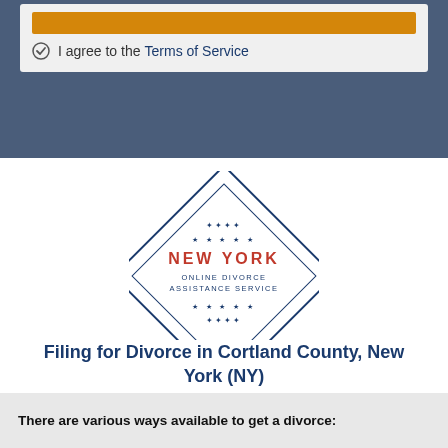I agree to the Terms of Service
[Figure (logo): New York Online Divorce Assistance Service diamond-shaped logo with blue border, stars, and red 'NEW YORK' text]
Filing for Divorce in Cortland County, New York (NY)
There are various ways available to get a divorce: